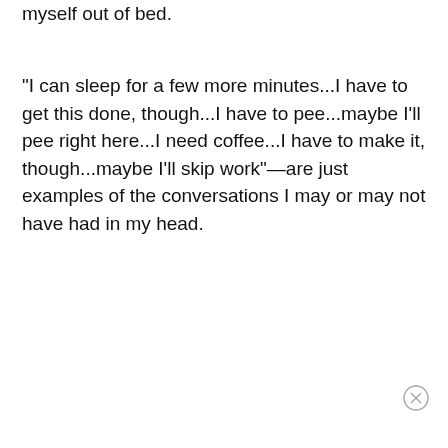myself out of bed.
"I can sleep for a few more minutes...I have to get this done, though...I have to pee...maybe I'll pee right here...I need coffee...I have to make it, though...maybe I'll skip work"—are just examples of the conversations I may or may not have had in my head.